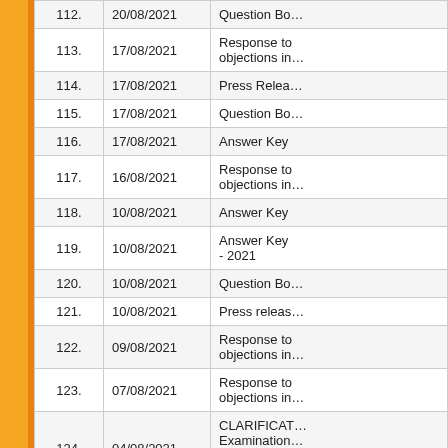| No. | Date | Document |
| --- | --- | --- |
| 112. | 20/08/2021 | Question Bo… |
| 113. | 17/08/2021 | Response to objections in… |
| 114. | 17/08/2021 | Press Relea… |
| 115. | 17/08/2021 | Question Bo… |
| 116. | 17/08/2021 | Answer Key |
| 117. | 16/08/2021 | Response to objections in… |
| 118. | 10/08/2021 | Answer Key |
| 119. | 10/08/2021 | Answer Key - 2021 |
| 120. | 10/08/2021 | Question Bo… |
| 121. | 10/08/2021 | Press releas… |
| 122. | 09/08/2021 | Response to objections in… |
| 123. | 07/08/2021 | Response to objections in… |
| 124. | 04/08/2021 | CLARIFICAT… Examination… Violence Aga… AUGUST 20… |